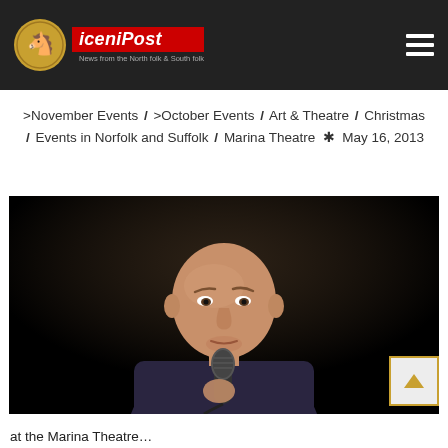iceniPost — News from the North folk & South folk
>November Events / >October Events / Art & Theatre / Christmas / Events in Norfolk and Suffolk / Marina Theatre * May 16, 2013
[Figure (photo): A bald man holding a microphone on a dark stage, wearing a dark shirt, performing stand-up comedy]
at the Marina Theatre...